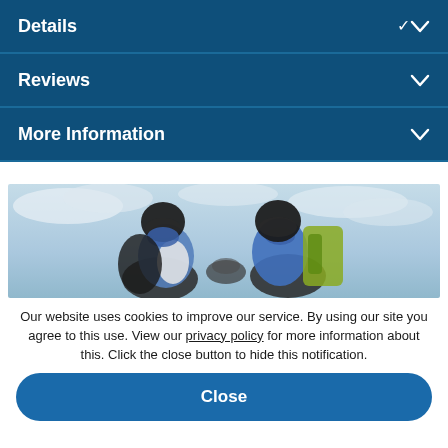Details
Reviews
More Information
[Figure (photo): Two skydivers in helmets checking each other's parachute gear against a blue sky with clouds]
Our website uses cookies to improve our service. By using our site you agree to this use. View our privacy policy for more information about this. Click the close button to hide this notification.
Close